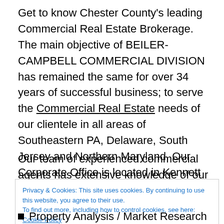Get to know Chester County's leading Commercial Real Estate Brokerage. The main objective of BEILER-CAMPBELL COMMERCIAL DIVISION has remained the same for over 34 years of successful business; to serve the Commercial Real Estate needs of our clientele in all areas of Southeastern PA, Delaware, South Jersey and Northern Maryland. Our Corporate Office is located in Kennett Square, Chester County, PA.
Our team of experienced commercial agents has extensive knowledge of our local CRE market. Some of
Privacy & Cookies: This site uses cookies. By continuing to use this website, you agree to their use.
To find out more, including how to control cookies, see here: Cookie Policy
Property Analysis / Market Research